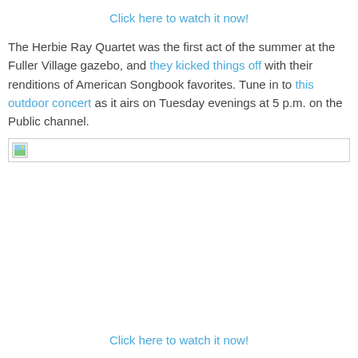Click here to watch it now!
The Herbie Ray Quartet was the first act of the summer at the Fuller Village gazebo, and they kicked things off with their renditions of American Songbook favorites. Tune in to this outdoor concert as it airs on Tuesday evenings at 5 p.m. on the Public channel.
[Figure (other): Broken image placeholder icon with small landscape thumbnail icon]
Click here to watch it now!